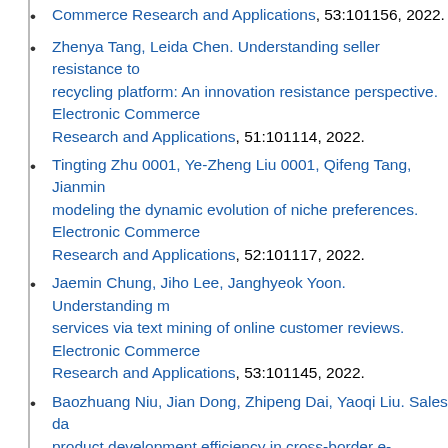Commerce Research and Applications, 53:101156, 2022.
Zhenya Tang, Leida Chen. Understanding seller resistance to recycling platform: An innovation resistance perspective. Electronic Commerce Research and Applications, 51:101114, 2022.
Tingting Zhu 0001, Ye-Zheng Liu 0001, Qifeng Tang, Jianmin... modeling the dynamic evolution of niche preferences. Electronic Commerce Research and Applications, 52:101117, 2022.
Jaemin Chung, Jiho Lee, Janghyeok Yoon. Understanding m... services via text mining of online customer reviews. Electronic Commerce Research and Applications, 53:101145, 2022.
Baozhuang Niu, Jian Dong, Zhipeng Dai, Yaoqi Liu. Sales da... product development efficiency in cross-border e-commerce. Electronic Commerce Research and Applications, 51:101112, 2022.
Frédéric Tronnier, David Harborth, Peter Hamm. Investigating... and trust in the digital Euro in Germany. Electronic Commerce Research and Applications, 53:101158, 2022.
Leinan Zhang, Wei Yang, Liu Yang, Lingyu Gao. How does th... e-commerce platform and manufacturers affect channel perfo... moderating role of innovation capability and market turbulence...